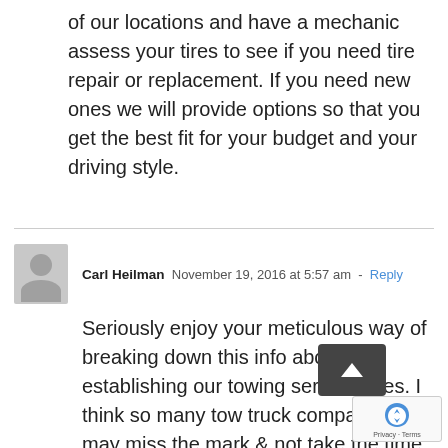of our locations and have a mechanic assess your tires to see if you need tire repair or replacement. If you need new ones we will provide options so that you get the best fit for your budget and your driving style.
Carl Heilman  November 19, 2016 at 5:57 am  - Reply
Seriously enjoy your meticulous way of breaking down this info about establishing our towing service rates. I think so many tow truck companies may miss the mark & not take the time to "slow down to speed up" and get this